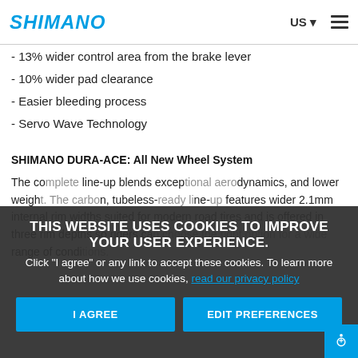SHIMANO | US
- 13% wider control area from the brake lever
- 10% wider pad clearance
- Easier bleeding process
- Servo Wave Technology
SHIMANO DURA-ACE: All New Wheel System
The co... line-up blends excep... ynamics, and lower weigh... cup features wider 2.1mm internal rim widths suited for modern road tires and is offered in three rim depths so riders ca... range of condi...
THIS WEBSITE USES COOKIES TO IMPROVE YOUR USER EXPERIENCE. Click "I agree" or any link to accept these cookies. To learn more about how we use cookies, read our privacy policy.
I AGREE | EDIT PREFERENCES